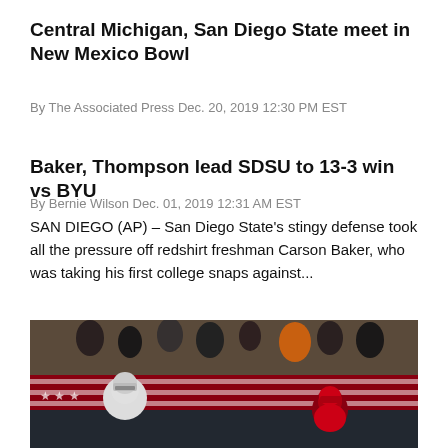Central Michigan, San Diego State meet in New Mexico Bowl
By The Associated Press Dec. 20, 2019 12:30 PM EST
Baker, Thompson lead SDSU to 13-3 win vs BYU
By Bernie Wilson Dec. 01, 2019 12:31 AM EST
SAN DIEGO (AP) – San Diego State's stingy defense took all the pressure off redshirt freshman Carson Baker, who was taking his first college snaps against...
[Figure (photo): Football game photo showing players from two teams on the field, with a crowd in the background]